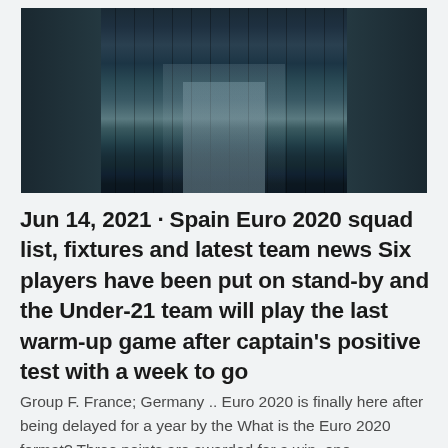[Figure (photo): Street-level view looking up between tall city skyscrapers, dark teal and grey tones, urban canyon perspective]
Jun 14, 2021 · Spain Euro 2020 squad list, fixtures and latest team news Six players have been put on stand-by and the Under-21 team will play the last warm-up game after captain's positive test with a week to go
Group F. France; Germany .. Euro 2020 is finally here after being delayed for a year by the What is the Euro 2020 format? Three points are awarded for a win, one